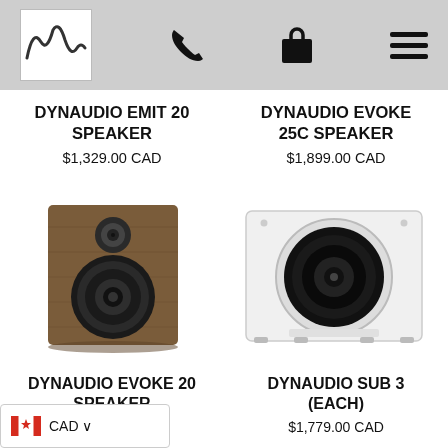[Figure (logo): Audio store logo with sine wave]
DYNAUDIO EMIT 20 SPEAKER
$1,329.00 CAD
DYNAUDIO EVOKE 25C SPEAKER
$1,899.00 CAD
[Figure (photo): Dynaudio Evoke 20 bookshelf speaker in walnut finish]
[Figure (photo): Dynaudio Sub 3 white subwoofer]
DYNAUDIO EVOKE 20 SPEAKER
$2,999.00 CAD
DYNAUDIO SUB 3 (EACH)
$1,779.00 CAD